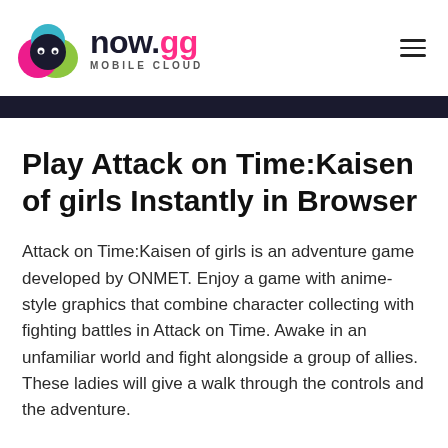now.gg MOBILE CLOUD
Play Attack on Time:Kaisen of girls Instantly in Browser
Attack on Time:Kaisen of girls is an adventure game developed by ONMET. Enjoy a game with anime-style graphics that combine character collecting with fighting battles in Attack on Time. Awake in an unfamiliar world and fight alongside a group of allies. These ladies will give a walk through the controls and the adventure.
They are also the characters to collect and play